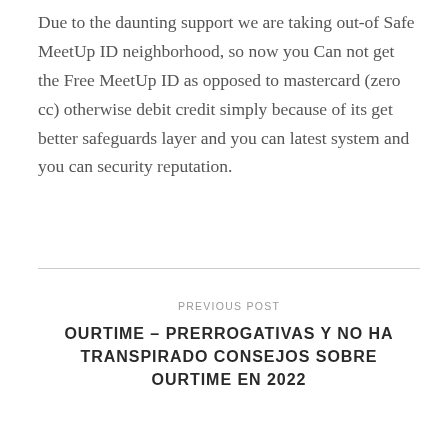Due to the daunting support we are taking out-of Safe MeetUp ID neighborhood, so now you Can not get the Free MeetUp ID as opposed to mastercard (zero cc) otherwise debit credit simply because of its get better safeguards layer and you can latest system and you can security reputation.
PREVIOUS POST
OURTIME – PRERROGATIVAS Y NO HA TRANSPIRADO CONSEJOS SOBRE OURTIME EN 2022